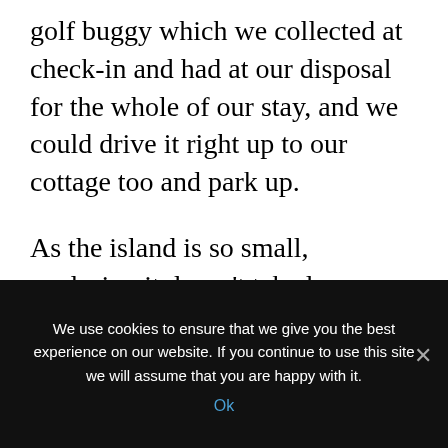golf buggy which we collected at check-in and had at our disposal for the whole of our stay, and we could drive it right up to our cottage too and park up.
As the island is so small, exploring it doesn't take long even in a golf buggy, but it really is picture perfect with pretty pastel New England-style homes, beach front eatery shacks, lush greenery and
We use cookies to ensure that we give you the best experience on our website. If you continue to use this site we will assume that you are happy with it.
Ok